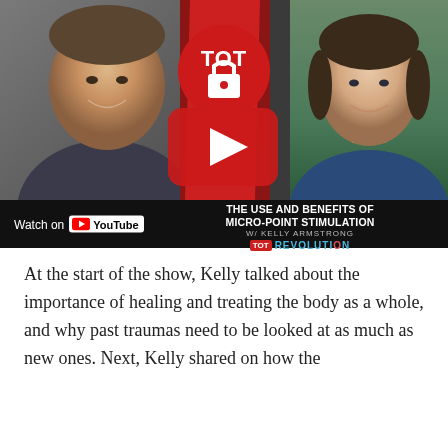[Figure (screenshot): YouTube video thumbnail for 'The Use and Benefits of Micro-Point Stimulation w/ Kelly Armstrong' on TOT Revolution channel. Shows two people (a man on the left, a woman on the right) with the TOT logo in the center, a YouTube play button overlay, and a dark bottom bar with 'Watch on YouTube' and the video title.]
At the start of the show, Kelly talked about the importance of healing and treating the body as a whole, and why past traumas need to be looked at as much as new ones. Next, Kelly shared on how the